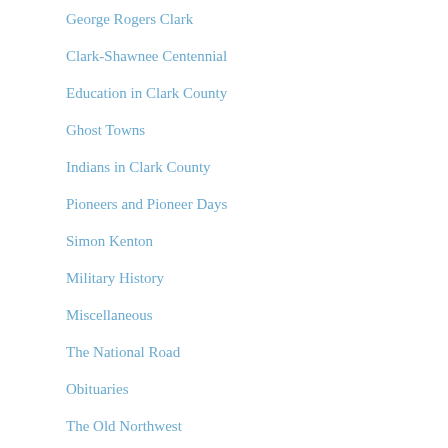George Rogers Clark
Clark-Shawnee Centennial
Education in Clark County
Ghost Towns
Indians in Clark County
Pioneers and Pioneer Days
Simon Kenton
Military History
Miscellaneous
The National Road
Obituaries
The Old Northwest
Organizations
Photos
Prehistory
Springfield in 1852
Springfield in 1859